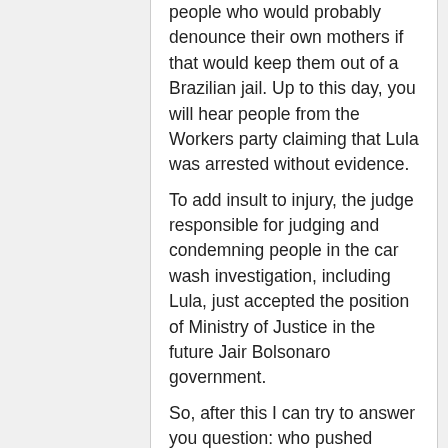people who would probably denounce their own mothers if that would keep them out of a Brazilian jail. Up to this day, you will hear people from the Workers party claiming that Lula was arrested without evidence.
To add insult to injury, the judge responsible for judging and condemning people in the car wash investigation, including Lula, just accepted the position of Ministry of Justice in the future Jair Bolsonaro government.
So, after this I can try to answer you question: who pushed Lava-jato? The police force, inspired by the Mani Puliti investigation in Italy (they said so themselves). The discussion is why the police force, in Brazil not the most efficient thing (only 5% of our murder investigations get to the end)